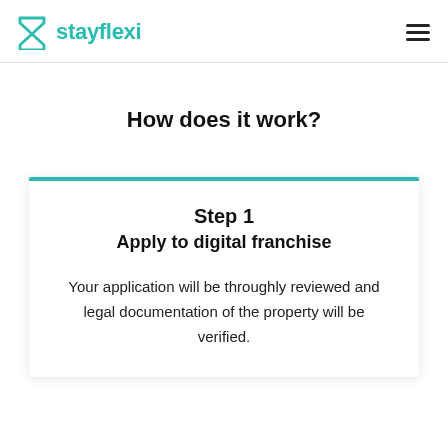stayflexi
How does it work?
Step 1
Apply to digital franchise
Your application will be throughly reviewed and legal documentation of the property will be verified.